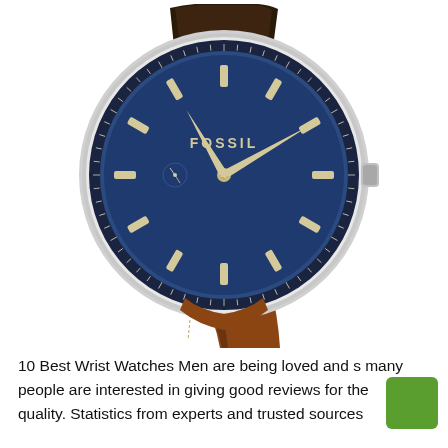[Figure (photo): A Fossil brand analog wristwatch with a navy blue dial, silver case, and tan/brown leather strap. The watch face shows hour markers in cream/gold, two main hands, a small seconds hand, and 'FOSSIL' text on the dial. The strap is brown leather with stitching detail.]
10 Best Wrist Watches Men are being loved and s many people are interested in giving good reviews for the quality. Statistics from experts and trusted sources